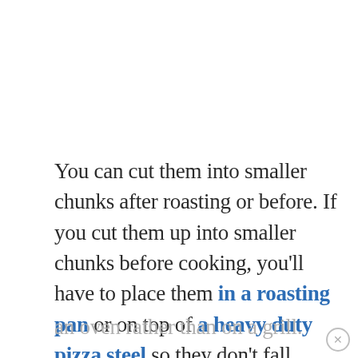You can cut them into smaller chunks after roasting or before. If you cut them up into smaller chunks before cooking, you'll have to place them in a roasting pan or on top of a heavy duty pizza steel so they don't fall through the cracks in the grates. This also holds true if you prepare this in
an oven rather than on a grill.